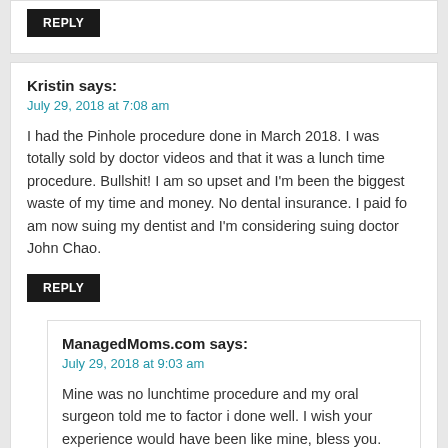REPLY
Kristin says:
July 29, 2018 at 7:08 am
I had the Pinhole procedure done in March 2018. I was totally sold by doctor videos and that it was a lunch time procedure. Bullshit! I am so upset and I'm been the biggest waste of my time and money. No dental insurance. I paid fo am now suing my dentist and I'm considering suing doctor John Chao.
REPLY
ManagedMoms.com says:
July 29, 2018 at 9:03 am
Mine was no lunchtime procedure and my oral surgeon told me to factor i done well. I wish your experience would have been like mine, bless you. considering suing.
REPLY